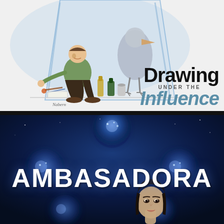[Figure (illustration): Comic/cartoon illustration showing a man sitting on the floor surrounded by bottles and art supplies, with a large bird (pelican or stork) nearby, inside a large glass or jar shape. Watercolor/cartoon style. Signed 'Nabern' or similar at bottom left.]
Drawing UNDER THE Influence
[Figure (illustration): Sci-fi / fantasy book cover showing a dark blue space background with glowing spherical orbs arranged in a cross/molecule pattern, and an animated woman's face at the bottom right.]
AMBASADORA